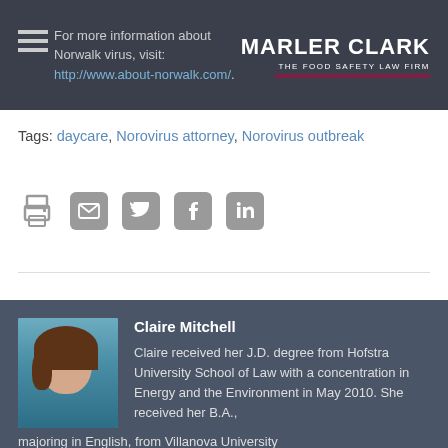For more information about Norwalk virus, visit: http://www.about-norwalk.com/.
Tags: daycare, Norovirus attorney, Norovirus outbreak
[Figure (infographic): Social sharing icons: print, email, Twitter, Facebook, LinkedIn]
Claire Mitchell
Claire received her J.D. degree from Hofstra University School of Law with a concentration in Energy and the Environment in May 2010. She received her B.A., majoring in English, from Villanova University